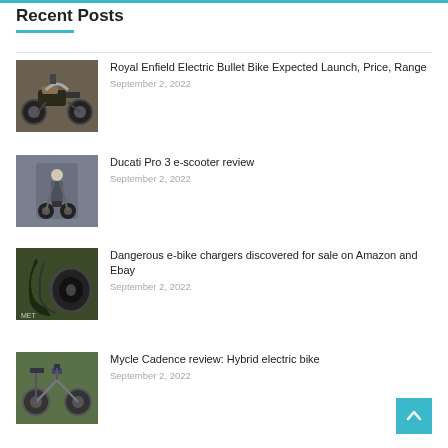Recent Posts
Royal Enfield Electric Bullet Bike Expected Launch, Price, Range
September 2, 2022
Ducati Pro 3 e-scooter review
September 2, 2022
Dangerous e-bike chargers discovered for sale on Amazon and Ebay
September 2, 2022
Mycle Cadence review: Hybrid electric bike
September 2, 2022